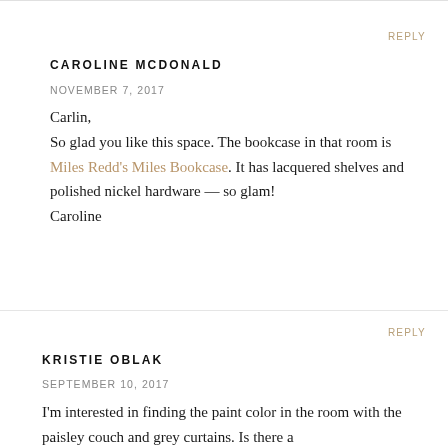REPLY
CAROLINE MCDONALD
NOVEMBER 7, 2017
Carlin,
So glad you like this space. The bookcase in that room is Miles Redd's Miles Bookcase. It has lacquered shelves and polished nickel hardware — so glam!
Caroline
REPLY
KRISTIE OBLAK
SEPTEMBER 10, 2017
I'm interested in finding the paint color in the room with the paisley couch and grey curtains. Is there a